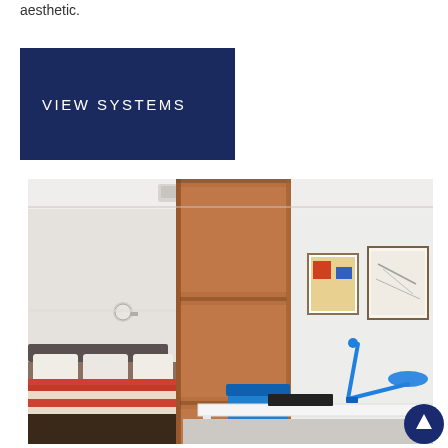aesthetic.
VIEW SYSTEMS
[Figure (photo): Interior room photo showing a wooden sliding partition panel dividing a bedroom (with bed and wall lamp on the left) from a study/desk area (with blue desk lamp, blue chair, white desk, and framed artwork on the wall on the right).]
[Figure (other): Circular up/back-to-top navigation button with white arrow icon on dark blue background.]